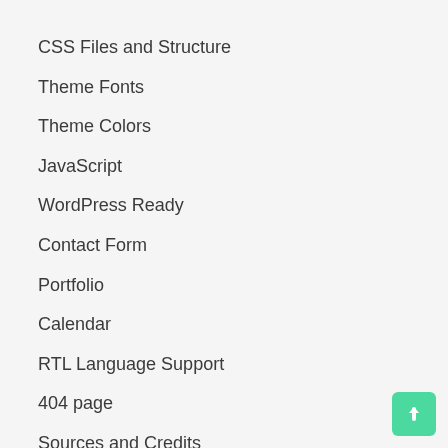CSS Files and Structure
Theme Fonts
Theme Colors
JavaScript
WordPress Ready
Contact Form
Portfolio
Calendar
RTL Language Support
404 page
Sources and Credits